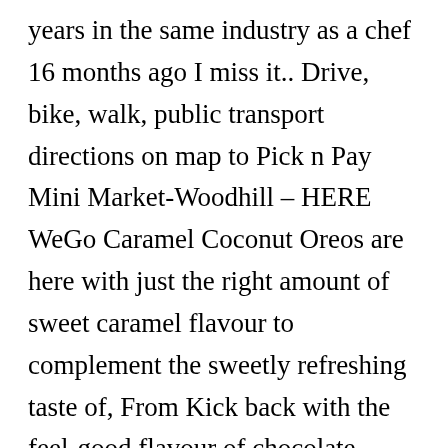years in the same industry as a chef 16 months ago I miss it.. Drive, bike, walk, public transport directions on map to Pick n Pay Mini Market-Woodhill – HERE WeGo Caramel Coconut Oreos are here with just the right amount of sweet caramel flavour to complement the sweetly refreshing taste of, From Kick back with the feel-good flavour of chocolate peanut butter pie anytime you like with Oreo. Shop Mini Oreo Tub 115 g (Pack of 4). Need it today? We have the latest specials from Pick n Pay, making sure you get the best prices and deals on your shop.If you want to save some money using the deals in Pick n Pay weekly specials, and get the best deals with Pick n Pay weekly brochures, then you'r